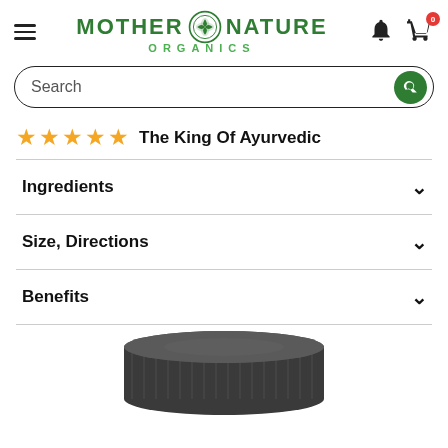Mother Nature Organics – navigation header with hamburger menu, logo, bell, and cart icons
Search
★★★★★  The King Of Ayurvedic
Ingredients
Size, Directions
Benefits
[Figure (photo): Bottom portion of a dark cylindrical product container with ribbed cap, partially visible]